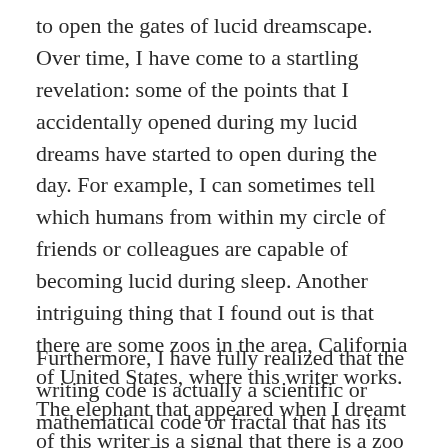to open the gates of lucid dreamscape. Over time, I have come to a startling revelation: some of the points that I accidentally opened during my lucid dreams have started to open during the day. For example, I can sometimes tell which humans from within my circle of friends or colleagues are capable of becoming lucid during sleep. Another intriguing thing that I found out is that there are some zoos in the area, California of United States, where this writer works. The elephant that appeared when I dreamt of this writer is a signal that there is a zoo or some zoos in the area. Wow!
Furthermore, I have fully realized that the writing code is actually a scientific or mathematical code or fractal that has its own laws of Physics. For